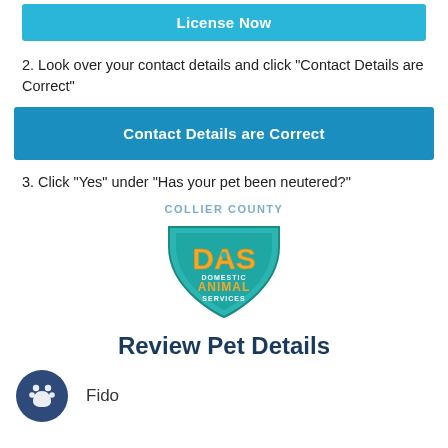[Figure (screenshot): Teal/cyan button labeled 'License Now']
2. Look over your contact details and click “Contact Details are Correct”
[Figure (screenshot): Blue button labeled 'Contact Details are Correct']
3. Click “Yes” under “Has your pet been neutered?”
[Figure (logo): Collier County Domestic Animal Services (DAS) shield logo with teal background and orange/yellow text]
Review Pet Details
Fido